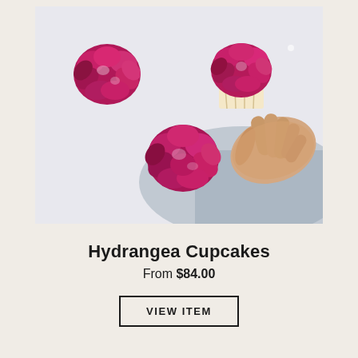[Figure (photo): Three hydrangea cupcakes with deep magenta/pink flower-petal frosting and green leaf decorations, arranged on a white and grey surface. A hand holds one cupcake up toward the camera.]
Hydrangea Cupcakes
From $84.00
VIEW ITEM